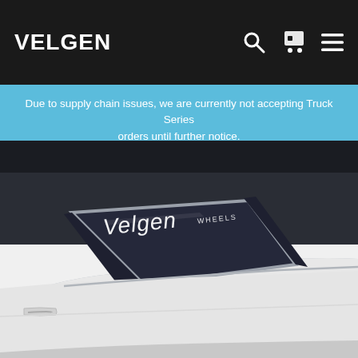VELGEN
Due to supply chain issues, we are currently not accepting Truck Series orders until further notice.
[Figure (photo): Close-up photo of the rear quarter window of a white sports car (likely a Chevrolet Camaro or similar) with a white Velgen Wheels decal/sticker on the dark tinted glass. The car body is white and the window trim is silver/chrome.]